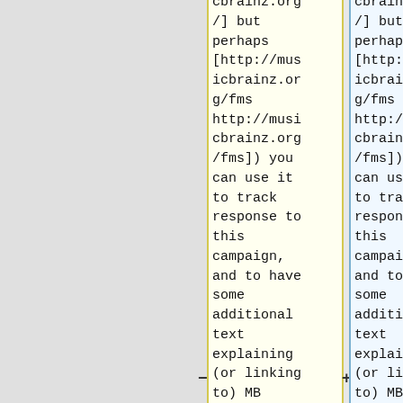cbrainz.org/] but perhaps [http://musicbrainz.org/fms http://musicbrainz.org/fms]) you can use it to track response to this campaign, and to have some additional text explaining (or linking to) MB philosophy,
cbrainz.org/] but perhaps [http://musicbrainz.org/fms http://musicbrainz.org/fms]) you can use it to track response to this campaign, and to have some additional text explaining (or linking to) MB philosophy,